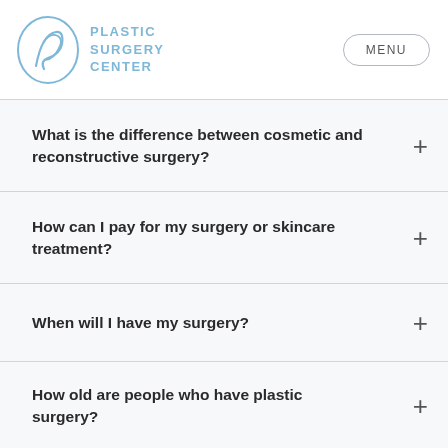PLASTIC SURGERY CENTER | MENU
What is the difference between cosmetic and reconstructive surgery?
How can I pay for my surgery or skincare treatment?
When will I have my surgery?
How old are people who have plastic surgery?